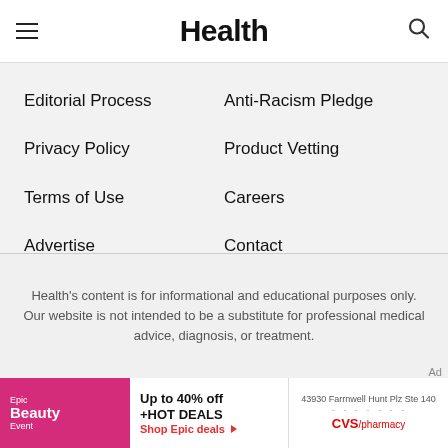Health
Editorial Process
Anti-Racism Pledge
Privacy Policy
Product Vetting
Terms of Use
Careers
Advertise
Contact
Do Not Sell My Personal Information
Health's content is for informational and educational purposes only. Our website is not intended to be a substitute for professional medical advice, diagnosis, or treatment.
[Figure (other): Advertisement banner: Epic Beauty Event - Up to 40% off +HOT DEALS, Shop Epic deals. CVS/pharmacy at 43930 Farrnwell Hunt Plz Ste 140.]